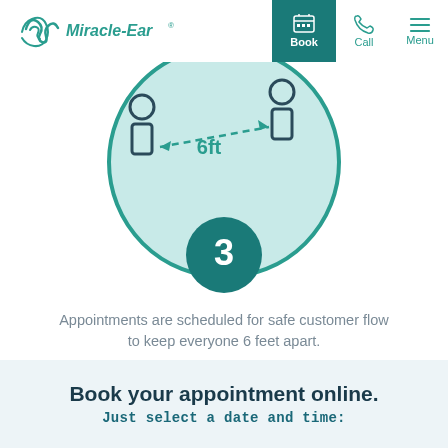[Figure (logo): Miracle-Ear logo with teal wave/ear icon and brand name]
[Figure (infographic): Step 3 infographic: two people icons with a 6ft double-headed arrow between them inside a light teal circle, with dark teal circle showing number 3 at the bottom]
Appointments are scheduled for safe customer flow to keep everyone 6 feet apart.
Book your appointment online.
Just select a date and time: